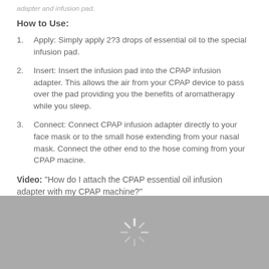adapter and infusion pad.
How to Use:
Apply: Simply apply 2?3 drops of essential oil to the special infusion pad.
Insert: Insert the infusion pad into the CPAP infusion adapter. This allows the air from your CPAP device to pass over the pad providing you the benefits of aromatherapy while you sleep.
Connect: Connect CPAP infusion adapter directly to your face mask or to the small hose extending from your nasal mask. Connect the other end to the hose coming from your CPAP macine.
Video: "How do I attach the CPAP essential oil infusion adapter with my CPAP machine?"
[Figure (screenshot): Loading spinner over a grey video placeholder area]